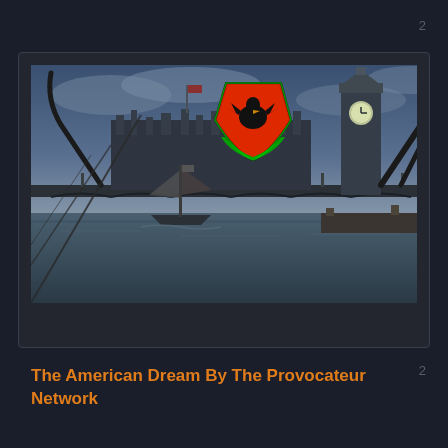2
[Figure (illustration): Fantasy/game-style illustration of a dystopian London scene featuring Westminster Bridge and Big Ben, with a sailing ship in dark waters, a red heraldic shield with a black eagle emblem in the center, and dark tentacle-like structures against a stormy sky.]
The American Dream By The Provocateur Network
2